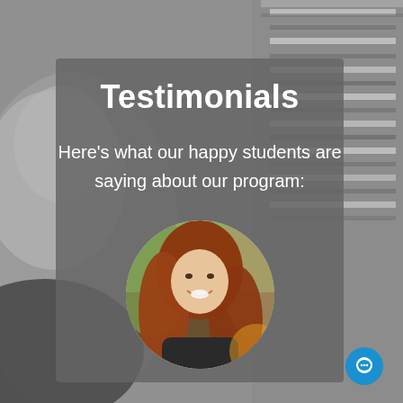[Figure (photo): Background grayscale blurred photo of a person and blinds/venetian shutters]
Testimonials
Here's what our happy students are saying about our program:
[Figure (photo): Circular cropped photo of a young woman with long red/auburn hair, smiling, at an outdoor setting]
[Figure (other): Blue circular chat button with white chat bubble icon in bottom-right corner]